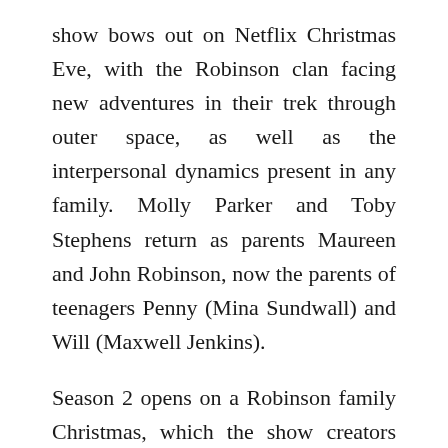show bows out on Netflix Christmas Eve, with the Robinson clan facing new adventures in their trek through outer space, as well as the interpersonal dynamics present in any family. Molly Parker and Toby Stephens return as parents Maureen and John Robinson, now the parents of teenagers Penny (Mina Sundwall) and Will (Maxwell Jenkins).
Season 2 opens on a Robinson family Christmas, which the show creators felt was a viable vehicle to showcase the passage of a year of time in their heroes' adventures through the cosmos.
“Part of the story is they’re doing well, they’re tight as a family,” said co-creator and executive producer